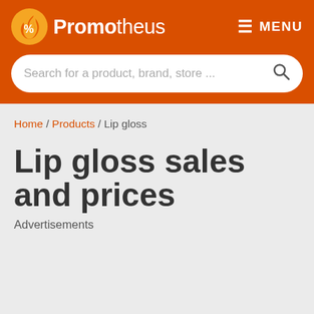[Figure (logo): Promotheus logo with flame icon and text on orange header background]
MENU
Search for a product, brand, store ...
Home / Products / Lip gloss
Lip gloss sales and prices
Advertisements